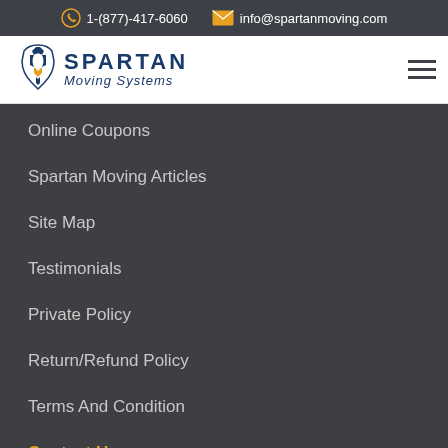1-(877)-417-6060   info@spartanmoving.com
[Figure (logo): Spartan Moving Systems logo with spartan helmet icon and text]
Online Coupons
Spartan Moving Articles
Site Map
Testimonials
Private Policy
Return/Refund Policy
Terms And Condition
Contact Us
Address